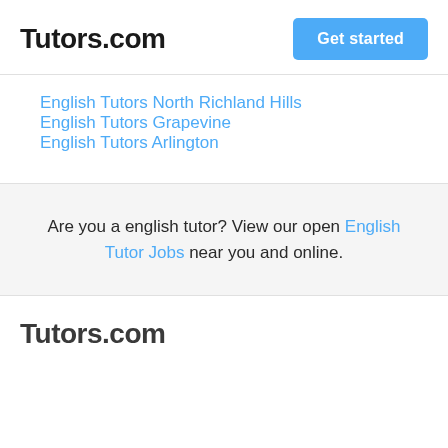Tutors.com
English Tutors North Richland Hills
English Tutors Grapevine
English Tutors Arlington
Are you a english tutor? View our open English Tutor Jobs near you and online.
Tutors.com